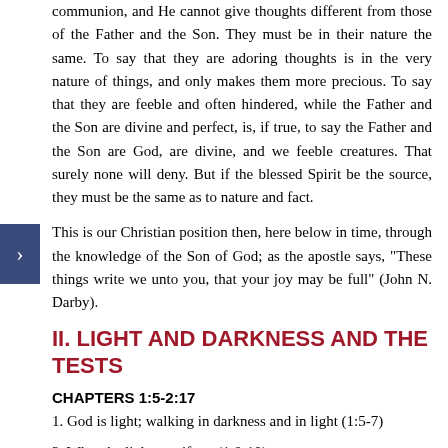communion, and He cannot give thoughts different from those of the Father and the Son. They must be in their nature the same. To say that they are adoring thoughts is in the very nature of things, and only makes them more precious. To say that they are feeble and often hindered, while the Father and the Son are divine and perfect, is, if true, to say the Father and the Son are God, are divine, and we feeble creatures. That surely none will deny. But if the blessed Spirit be the source, they must be the same as to nature and fact.
This is our Christian position then, here below in time, through the knowledge of the Son of God; as the apostle says, "These things write we unto you, that your joy may be full" (John N. Darby).
II. LIGHT AND DARKNESS AND THE TESTS
CHAPTERS 1:5-2:17
1. God is light; walking in darkness and in light (1:5-7)
2. What the light manifests (1:8-10)